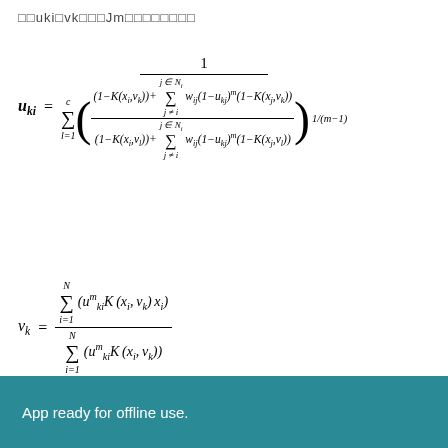uki vk Jm (membership update equations)